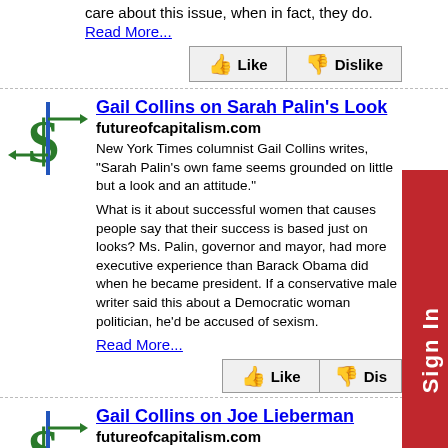care about this issue, when in fact, they do.
Read More...
Gail Collins on Sarah Palin's Look
futureofcapitalism.com
New York Times columnist Gail Collins writes, "Sarah Palin's own fame seems grounded on little but a look and an attitude."
What is it about successful women that causes people say that their success is based just on looks? Ms. Palin, governor and mayor, had more executive experience than Barack Obama did when he became president. If a conservative male writer said this about a Democratic woman politician, he'd be accused of sexism.
Read More...
Gail Collins on Joe Lieberman
futureofcapitalism.com
New York Times columnist Gail Collins has a column of Senator Joseph Lieberman of Connecticut, who announced he won't seek re-election: "Lieberman has reached a point in his public career when every single thing he does, including talking about his grandparents, is irritating."